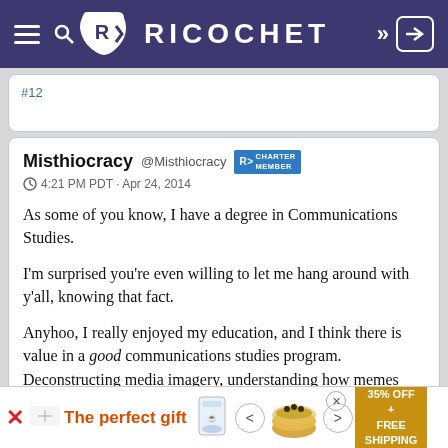Ricochet
#12
Misthiocracy @Misthiocracy [CHARTER MEMBER badge]
⊙ 4:21 PM PDT · Apr 24, 2014

As some of you know, I have a degree in Communications Studies.

I'm surprised you're even willing to let me hang around with y'all, knowing that fact.

Anyhoo, I really enjoyed my education, and I think there is value in a good communications studies program. Deconstructing media imagery, understanding how memes propagate,
[Figure (screenshot): Advertisement banner: 'The perfect gift' with food product images and '35% OFF + FREE SHIPPING' offer]